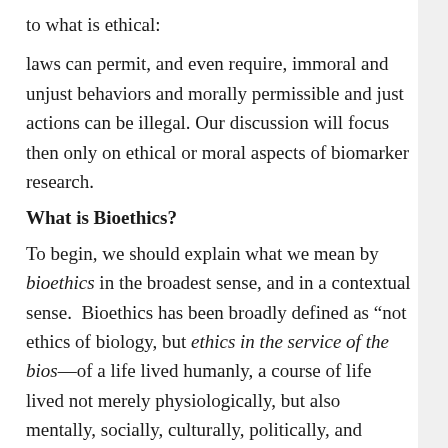to what is ethical:
laws can permit, and even require, immoral and unjust behaviors and morally permissible and just actions can be illegal. Our discussion will focus then only on ethical or moral aspects of biomarker research.
What is Bioethics?
To begin, we should explain what we mean by bioethics in the broadest sense, and in a contextual sense. Bioethics has been broadly defined as “not ethics of biology, but ethics in the service of the bios—of a life lived humanly, a course of life lived not merely physiologically, but also mentally, socially, culturally, politically, and spiritually. This means